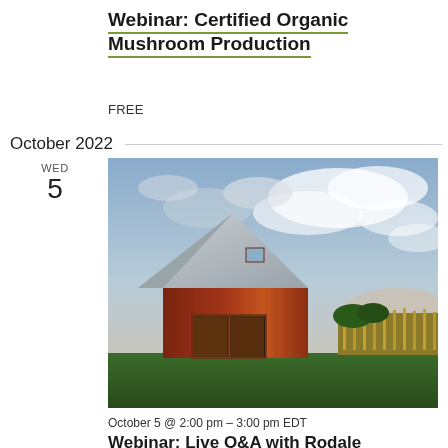Webinar: Certified Organic Mushroom Production
FREE
October 2022
WED
5
[Figure (photo): A red barn with a metal roof photographed at dusk, with dramatic cloudy sky, corn fields and green lawn visible in background.]
October 5 @ 2:00 pm – 3:00 pm EDT
Webinar: Live Q&A with Rodale Institute's Farming Advice